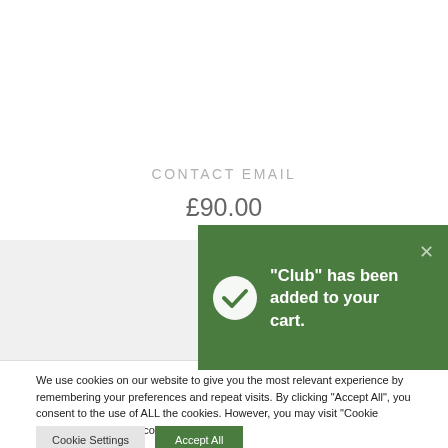CONTACT EMAIL
£90.00
“Club” has been added to your cart.
We use cookies on our website to give you the most relevant experience by remembering your preferences and repeat visits. By clicking “Accept All”, you consent to the use of ALL the cookies. However, you may visit "Cookie Settings" to provide a controlled consent.
Cookie Settings
Accept All